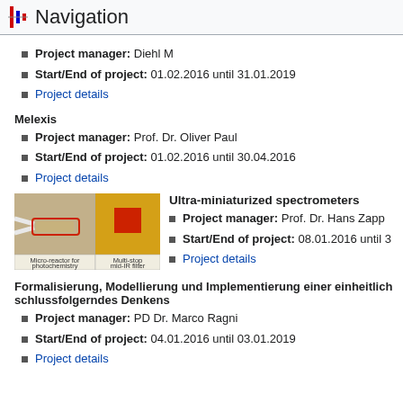Navigation
Project manager: Diehl M
Start/End of project: 01.02.2016 until 31.01.2019
Project details
Melexis
Project manager: Prof. Dr. Oliver Paul
Start/End of project: 01.02.2016 until 30.04.2016
Project details
[Figure (photo): Micro-reactor for photochemistry and Multi-stop mid-IR filter images]
Ultra-miniaturized spectrometers
Project manager: Prof. Dr. Hans Zapp
Start/End of project: 08.01.2016 until ...
Project details
Formalisierung, Modellierung und Implementierung einer einheitlich schlussfolgerndes Denkens
Project manager: PD Dr. Marco Ragni
Start/End of project: 04.01.2016 until 03.01.2019
Project details